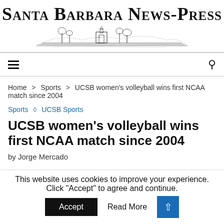[Figure (logo): Santa Barbara News-Press masthead with title in small caps serif font and a decorative engraving of a coastal scene below]
≡  🔍
Home > Sports > UCSB women's volleyball wins first NCAA match since 2004
Sports ◇ UCSB Sports
UCSB women's volleyball wins first NCAA match since 2004
by Jorge Mercado
This website uses cookies to improve your experience. Click "Accept" to agree and continue.  Accept  Read More